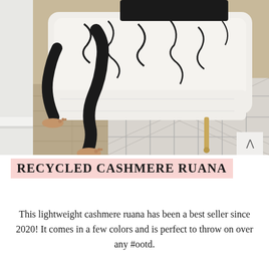[Figure (photo): Person sitting barefoot on a black-and-white patterned upholstered chair with gold legs, wearing black leather pants, on a geometric grey and white rug over hardwood floor]
RECYCLED CASHMERE RUANA
This lightweight cashmere ruana has been a best seller since 2020! It comes in a few colors and is perfect to throw on over any #ootd.